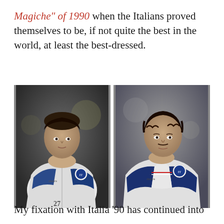Magiche" of 1990 when the Italians proved themselves to be, if not quite the best in the world, at least the best-dressed.
[Figure (photo): Two side-by-side photographs of Italian football players wearing white Diadora Italia tracksuit jackets with dark blue trim and the Italian football federation badge, circa 1990 World Cup.]
My fixation with Italia '90 has continued into